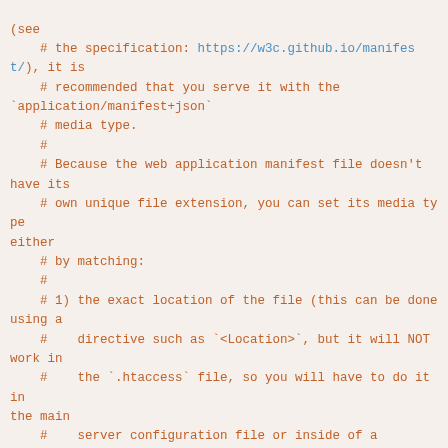(see
    # the specification: https://w3c.github.io/manifest/), it is
    # recommended that you serve it with the `application/manifest+json`
    # media type.
    #
    # Because the web application manifest file doesn't have its
    # own unique file extension, you can set its media type either
    # by matching:
    #
    # 1) the exact location of the file (this can be done using a
    #    directive such as `<Location>`, but it will NOT work in
    #    the `.htaccess` file, so you will have to do it in the main
    #    server configuration file or inside of a `<VirtualHost>`
    #    container)
    #
    #    e.g.:
    #
    #      <Location "/.well-known/manifest.json">
    #        AddType application/manifest+json